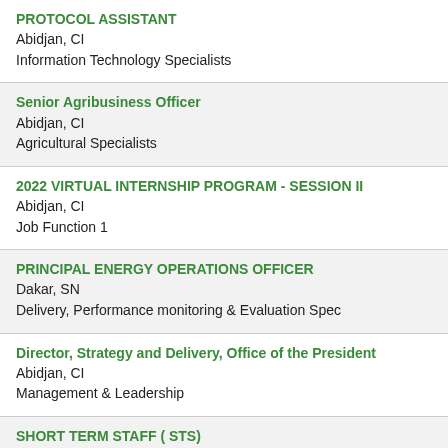PROTOCOL ASSISTANT
Abidjan, CI
Information Technology Specialists
Senior Agribusiness Officer
Abidjan, CI
Agricultural Specialists
2022 VIRTUAL INTERNSHIP PROGRAM - SESSION II
Abidjan, CI
Job Function 1
PRINCIPAL ENERGY OPERATIONS OFFICER
Dakar, SN
Delivery, Performance monitoring & Evaluation Spec
Director, Strategy and Delivery, Office of the President
Abidjan, CI
Management & Leadership
SHORT TERM STAFF ( STS)
Abidjan, CI
Job Function 1